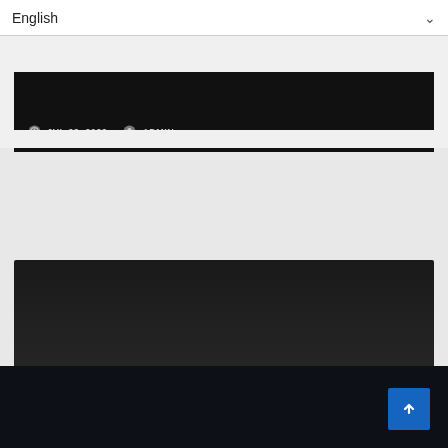English
JUL 22, 2022  ADMIN
[Figure (screenshot): Dark article card with UNCATEGORIZED badge, title 'how many energy drinks a day is bad', date JUL 22 2022 and ADMIN author]